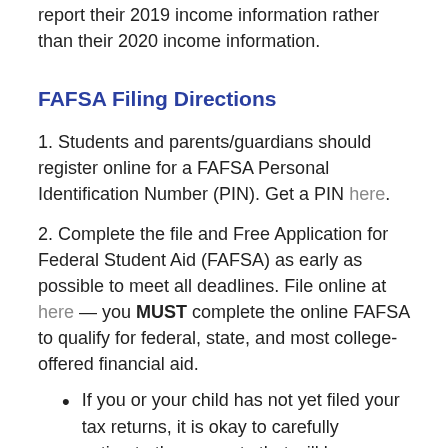report their 2019 income information rather than their 2020 income information.
FAFSA Filing Directions
1. Students and parents/guardians should register online for a FAFSA Personal Identification Number (PIN). Get a PIN here.
2. Complete the file and Free Application for Federal Student Aid (FAFSA) as early as possible to meet all deadlines. File online at here — you MUST complete the online FAFSA to qualify for federal, state, and most college-offered financial aid.
If you or your child has not yet filed your tax returns, it is okay to carefully estimate the amounts that will be on your tax forms on the FAFSA. You will need to go back into your